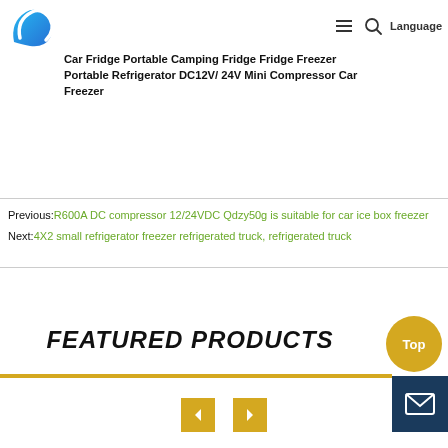Logo | hamburger menu | search | Language
Car Refrigerator Freezer DC12V/ 24V Mini Compressor Car Refrigerator Portable Camping Cooler Box Car Small Refrigerator Car Mini Cooler 220v Fridge Freezer Mobile Car Fridge Portable Camping Fridge Fridge Freezer Portable Refrigerator DC12V/ 24V Mini Compressor Car Freezer
Previous: R600A DC compressor 12/24VDC Qdzy50g is suitable for car ice box freezer
Next: 4X2 small refrigerator freezer refrigerated truck, refrigerated truck
FEATURED PRODUCTS